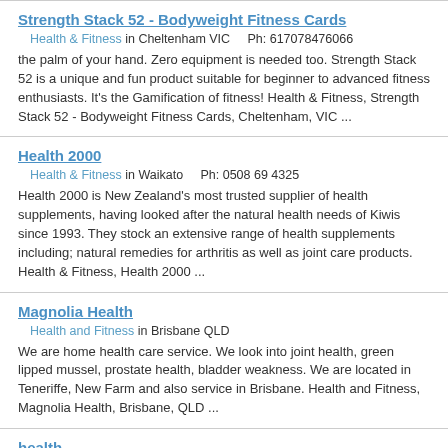Strength Stack 52 - Bodyweight Fitness Cards
Health & Fitness in Cheltenham VIC    Ph: 617078476066
the palm of your hand. Zero equipment is needed too. Strength Stack 52 is a unique and fun product suitable for beginner to advanced fitness enthusiasts. It's the Gamification of fitness! Health & Fitness, Strength Stack 52 - Bodyweight Fitness Cards, Cheltenham, VIC ...
Health 2000
Health & Fitness in Waikato    Ph: 0508 69 4325
Health 2000 is New Zealand's most trusted supplier of health supplements, having looked after the natural health needs of Kiwis since 1993. They stock an extensive range of health supplements including; natural remedies for arthritis as well as joint care products. Health & Fitness, Health 2000 ...
Magnolia Health
Health and Fitness in Brisbane QLD
We are home health care service. We look into joint health, green lipped mussel, prostate health, bladder weakness. We are located in Teneriffe, New Farm and also service in Brisbane. Health and Fitness, Magnolia Health, Brisbane, QLD ...
health